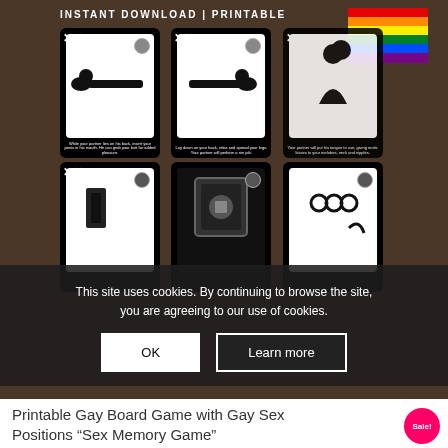INSTANT DOWNLOAD | PRINTABLE
[Figure (illustration): Six game cards showing silhouette illustrations of sexual positions, arranged in a 3x2 grid on a dark wooden background]
[Figure (photo): Rainbow pride flag in upper right corner]
This site uses cookies. By continuing to browse the site, you are agreeing to our use of cookies.
OK
Learn more
Printable Gay Board Game with Gay Sex Positions “Sex Memory Game”
Sale!